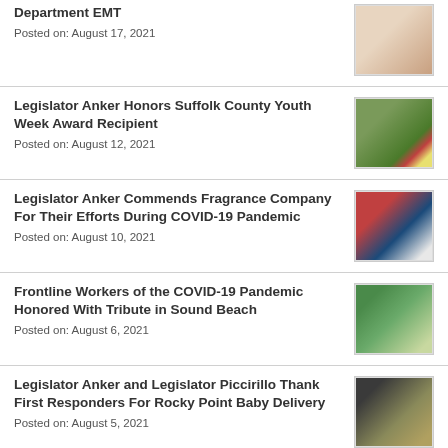Department EMT
Posted on: August 17, 2021
[Figure (photo): Two women, one holding a certificate]
Legislator Anker Honors Suffolk County Youth Week Award Recipient
Posted on: August 12, 2021
[Figure (photo): People standing outdoors near a sign]
Legislator Anker Commends Fragrance Company For Their Efforts During COVID-19 Pandemic
Posted on: August 10, 2021
[Figure (photo): Two people, one in red shirt, one in dark outfit with certificate]
Frontline Workers of the COVID-19 Pandemic Honored With Tribute in Sound Beach
Posted on: August 6, 2021
[Figure (photo): Group of people standing outdoors]
Legislator Anker and Legislator Piccirillo Thank First Responders For Rocky Point Baby Delivery
Posted on: August 5, 2021
[Figure (photo): Group of people indoors holding certificates]